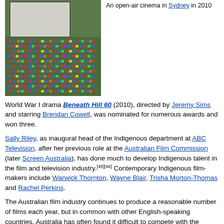[Figure (photo): An open-air cinema with a large outdoor screen and a crowd of people sitting on grass watching a film, taken in Sydney in 2010]
An open-air cinema in Sydney in 2010
World War I drama Beneath Hill 60 (2010), directed by Jeremy Sims and starring Brendan Cowell, was nominated for numerous awards and won three.
Sally Riley, as inaugural head of the Indigenous department at ABC Television, after her previous role at the Australian Film Commission (later Screen Australia), has done much to develop Indigenous talent in the film and television industry.[45][46] Contemporary Indigenous film-makers include Warwick Thornton, Wayne Blair, Trisha Morton-Thomas and Rachel Perkins.
The Australian film industry continues to produce a reasonable number of films each year, but in common with other English-speaking countries, Australia has often found it difficult to compete with the American film industry[47] the latter helped by having a